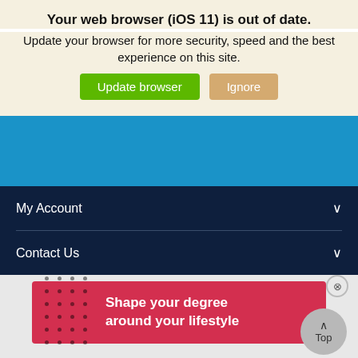Your web browser (iOS 11) is out of date.
Update your browser for more security, speed and the best experience on this site.
[Figure (screenshot): Two buttons: green 'Update browser' and tan 'Ignore']
[Figure (screenshot): Blue header navigation bar area]
My Account
Contact Us
[Figure (infographic): Red advertisement banner reading 'Shape your degree around your lifestyle' with dot grid pattern on left, a close (X) button top right, and a grey 'Top' scroll button overlapping bottom right]